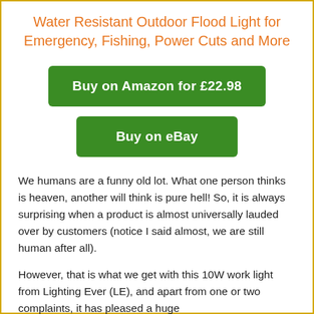Water Resistant Outdoor Flood Light for Emergency, Fishing, Power Cuts and More
Buy on Amazon for £22.98
Buy on eBay
We humans are a funny old lot. What one person thinks is heaven, another will think is pure hell! So, it is always surprising when a product is almost universally lauded over by customers (notice I said almost, we are still human after all).
However, that is what we get with this 10W work light from Lighting Ever (LE), and apart from one or two complaints, it has pleased a huge